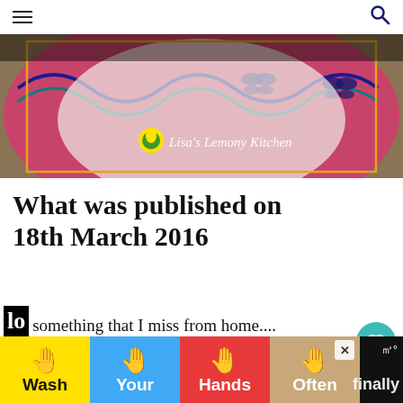≡  🔍
[Figure (photo): Close-up photo of a colorful decorated ceramic bowl/plate with butterfly and wave patterns in pink, teal, and blue. Watermark reads 'Lisa's Lemony Kitchen' with a lemon logo.]
What was published on 18th March 2016
is something that I miss from home.... Ironic... living in a country where wheat is o. of the staples, yet I can't find polish pearls in our local grocer.
[Figure (infographic): Wash Your Hands Often advertisement banner with colorful hand icons on yellow, blue, red, and tan backgrounds.]